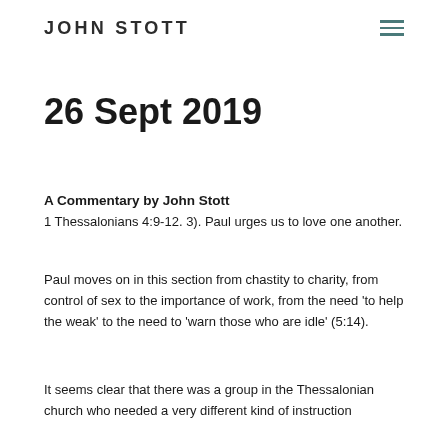JOHN STOTT
26 Sept 2019
A Commentary by John Stott
1 Thessalonians 4:9-12. 3). Paul urges us to love one another.
Paul moves on in this section from chastity to charity, from control of sex to the importance of work, from the need ‘to help the weak’ to the need to ‘warn those who are idle’ (5:14).
It seems clear that there was a group in the Thessalonian church who needed a very different kind of instruction